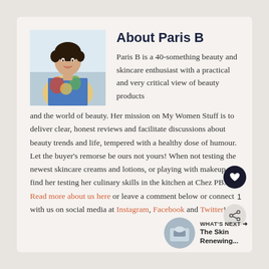[Figure (photo): Portrait photo of Paris B, a woman with short dark hair wearing a colorful floral top]
About Paris B
Paris B is a 40-something beauty and skincare enthusiast with a practical and very critical view of beauty products and the world of beauty. Her mission on My Women Stuff is to deliver clear, honest reviews and facilitate discussions about beauty trends and life, tempered with a healthy dose of humour. Let the buyer's remorse be ours not yours! When not testing the newest skincare creams and lotions, or playing with makeup, find her testing her culinary skills in the kitchen at Chez PB. Read more about us here or leave a comment below or connect with us on social media at Instagram, Facebook and Twitter!
[Figure (photo): Small circular thumbnail for What's Next — The Skin Renewing...]